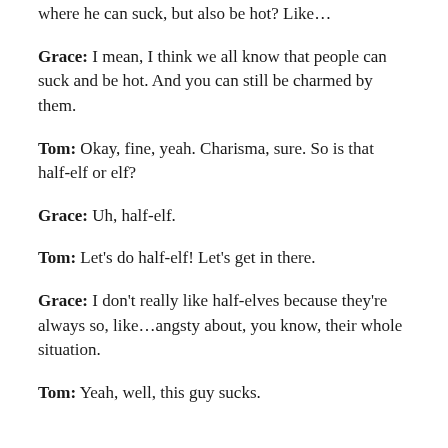Tom: …does feeling is there any separation here, where he can suck, but also be hot? Like…
Grace: I mean, I think we all know that people can suck and be hot. And you can still be charmed by them.
Tom: Okay, fine, yeah. Charisma, sure. So is that half-elf or elf?
Grace: Uh, half-elf.
Tom: Let's do half-elf! Let's get in there.
Grace: I don't really like half-elves because they're always so, like…angsty about, you know, their whole situation.
Tom: Yeah, well, this guy sucks.